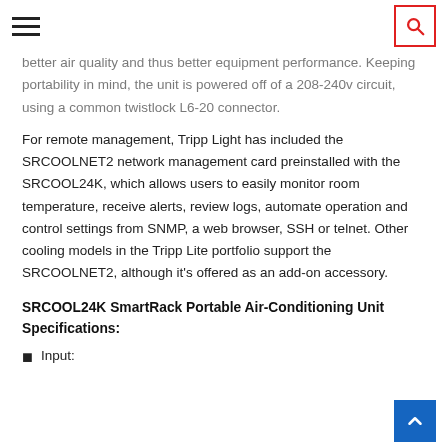[hamburger menu] [search button]
better air quality and thus better equipment performance. Keeping portability in mind, the unit is powered off of a 208-240v circuit, using a common twistlock L6-20 connector.
For remote management, Tripp Light has included the SRCOOLNET2 network management card preinstalled with the SRCOOL24K, which allows users to easily monitor room temperature, receive alerts, review logs, automate operation and control settings from SNMP, a web browser, SSH or telnet. Other cooling models in the Tripp Lite portfolio support the SRCOOLNET2, although it's offered as an add-on accessory.
SRCOOL24K SmartRack Portable Air-Conditioning Unit Specifications:
Input: